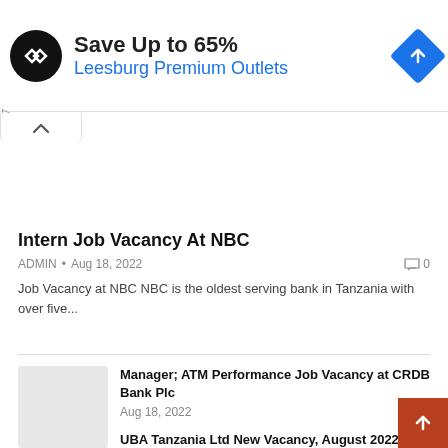[Figure (other): Advertisement banner: black circular logo with arrow symbol, text 'Save Up to 65%' and 'Leesburg Premium Outlets' in blue, blue diamond navigation icon on right]
Intern Job Vacancy At NBC
ADMIN • Aug 18, 2022   0
Job Vacancy at NBC NBC is the oldest serving bank in Tanzania with over five...
Manager; ATM Performance Job Vacancy at CRDB Bank Plc
Aug 18, 2022
UBA Tanzania Ltd New Vacancy, August 2022